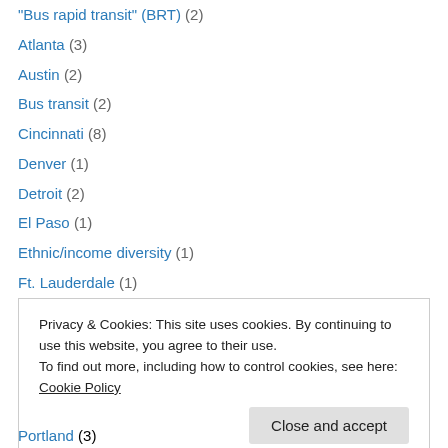"Bus rapid transit" (BRT) (2)
Atlanta (3)
Austin (2)
Bus transit (2)
Cincinnati (8)
Denver (1)
Detroit (2)
El Paso (1)
Ethnic/income diversity (1)
Ft. Lauderdale (1)
Kansas City (3)
Light rail and streetcar systems (30)
Los Angeles (3)
Privacy & Cookies: This site uses cookies. By continuing to use this website, you agree to their use. To find out more, including how to control cookies, see here: Cookie Policy
Portland (3)